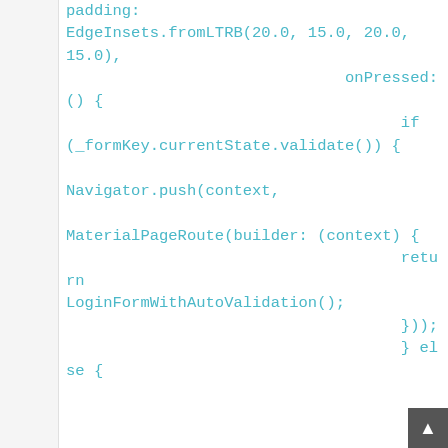padding:
EdgeInsets.fromLTRB(20.0, 15.0, 20.0, 15.0),
                              onPressed: () {
                                    if (_formKey.currentState.validate()) {

 Navigator.push(context,

MaterialPageRoute(builder: (context) {
                                    return LoginFormWithAutoValidation();
                                    }));
                                    } else {